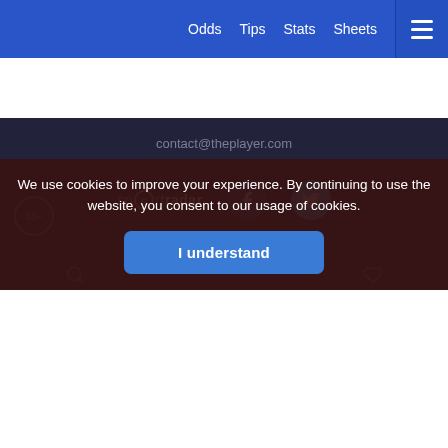Odds  Tips  Stats  Sheets
contact@theplayer.com
[Figure (logo): Sportradar logo with Facebook and Twitter social media icons]
Privacy Policy / Our authors Sitemap
We use cookies to improve your experience. By continuing to use the website, you consent to our usage of cookies.
I understand